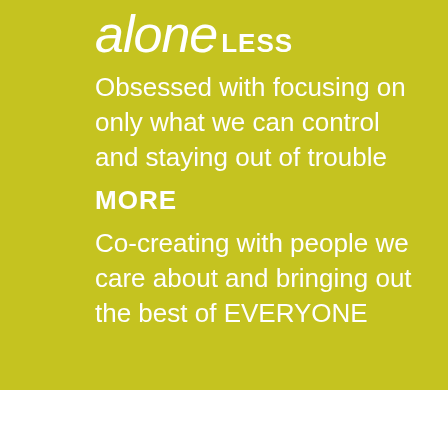alone
LESS
Obsessed with focusing on only what we can control and staying out of trouble
MORE
Co-creating with people we care about and bringing out the best of EVERYONE